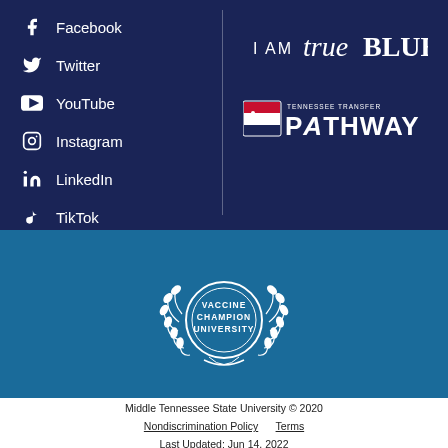Facebook
Twitter
YouTube
Instagram
LinkedIn
TikTok
[Figure (logo): I AM trueBlue logo in white text on dark navy background]
[Figure (logo): Tennessee Transfer PATHWAY logo in white on dark navy background]
[Figure (logo): Vaccine Champion University badge/seal in white on medium blue background]
Middle Tennessee State University © 2020
Nondiscrimination Policy    Terms
Last Updated: Jun 14, 2022